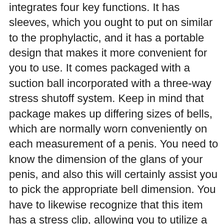integrates four key functions. It has sleeves, which you ought to put on similar to the prophylactic, and it has a portable design that makes it more convenient for you to use. It comes packaged with a suction ball incorporated with a three-way stress shutoff system. Keep in mind that package makes up differing sizes of bells, which are normally worn conveniently on each measurement of a penis. You need to know the dimension of the glans of your penis, and also this will certainly assist you to pick the appropriate bell dimension. You have to likewise recognize that this item has a stress clip, allowing you to utilize a basic pull to increase pressure. As well as it features a protector cap to protect the glans versus excess pressure.